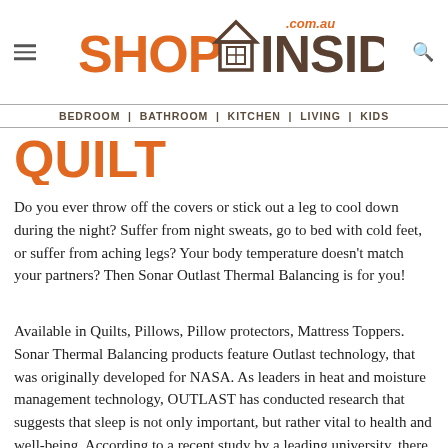ShopInside.com.au — BEDROOM | BATHROOM | KITCHEN | LIVING | KIDS
QUILT
Do you ever throw off the covers or stick out a leg to cool down during the night? Suffer from night sweats, go to bed with cold feet, or suffer from aching legs? Your body temperature doesn't match your partners? Then Sonar Outlast Thermal Balancing is for you!
Available in Quilts, Pillows, Pillow protectors, Mattress Toppers. Sonar Thermal Balancing products feature Outlast technology, that was originally developed for NASA. As leaders in heat and moisture management technology, OUTLAST has conducted research that suggests that sleep is not only important, but rather vital to health and well-being. According to a recent study by a leading university, there are six major reasons for needing